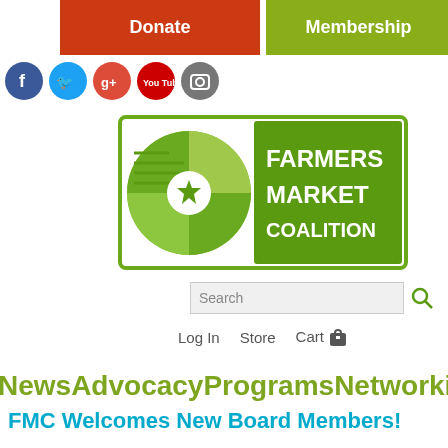Donate | Membership | Get Updates
[Figure (logo): Farmers Market Coalition logo — circular green leaf pattern with star, text FARMERS MARKET COALITION on green background]
Search
Log In   Store   Cart
NewsAdvocacyProgramsNetworkingResources
FMC Welcomes New Board Members!